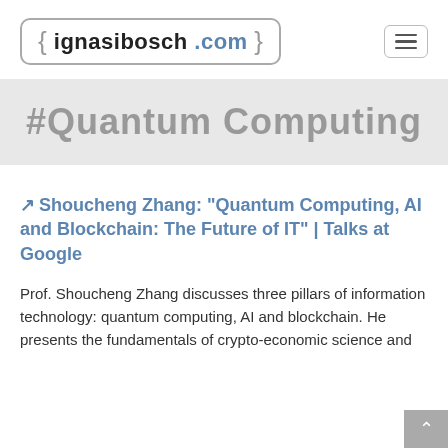ignasibosch .com
#Quantum Computing
Shoucheng Zhang: "Quantum Computing, AI and Blockchain: The Future of IT" | Talks at Google
Prof. Shoucheng Zhang discusses three pillars of information technology: quantum computing, AI and blockchain. He presents the fundamentals of crypto-economic science and